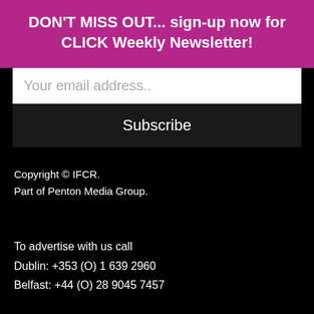DON'T MISS OUT... sign-up now for CLICK Weekly Newsletter!
[Figure (other): Email input field with placeholder text 'Your email address..']
[Figure (other): Subscribe button with dark background]
Copyright © IFCR.
Part of Penton Media Group.
To advertise with us call
Dublin: +353 (O) 1 639 2960
Belfast: +44 (O) 28 9045 7457